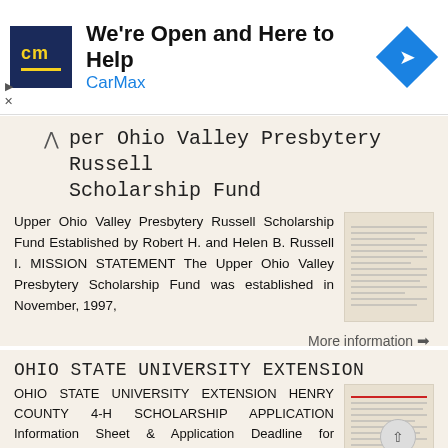[Figure (other): CarMax advertisement banner with logo, headline 'We're Open and Here to Help', brand name 'CarMax', and a blue diamond navigation icon]
Upper Ohio Valley Presbytery Russell Scholarship Fund
Upper Ohio Valley Presbytery Russell Scholarship Fund Established by Robert H. and Helen B. Russell I. MISSION STATEMENT The Upper Ohio Valley Presbytery Scholarship Fund was established in November, 1997,
More information ➔
OHIO STATE UNIVERSITY EXTENSION
OHIO STATE UNIVERSITY EXTENSION HENRY COUNTY 4-H SCHOLARSHIP APPLICATION Information Sheet & Application Deadline for application is January